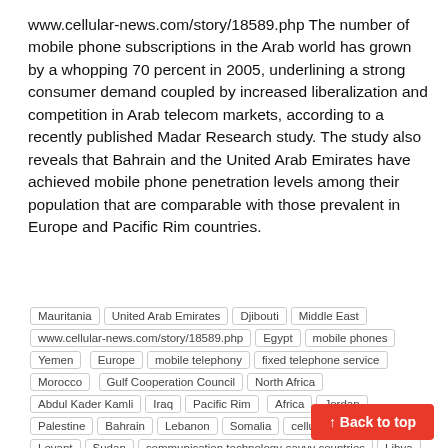www.cellular-news.com/story/18589.php The number of mobile phone subscriptions in the Arab world has grown by a whopping 70 percent in 2005, underlining a strong consumer demand coupled by increased liberalization and competition in Arab telecom markets, according to a recently published Madar Research study. The study also reveals that Bahrain and the United Arab Emirates have achieved mobile phone penetration levels among their population that are comparable with those prevalent in Europe and Pacific Rim countries.
Mauritania
United Arab Emirates
Djibouti
Middle East
www.cellular-news.com/story/18589.php
Egypt
mobile phones
Yemen
Europe
mobile telephony
fixed telephone service
Morocco
Gulf Cooperation Council
North Africa
Abdul Kader Kamli
Iraq
Pacific Rim
Africa
Jordan
Palestine
Bahrain
Lebanon
Somalia
cellular telephone
Levant
Sudan
communication technology-savvy countries
Libya
Syria
Comoros